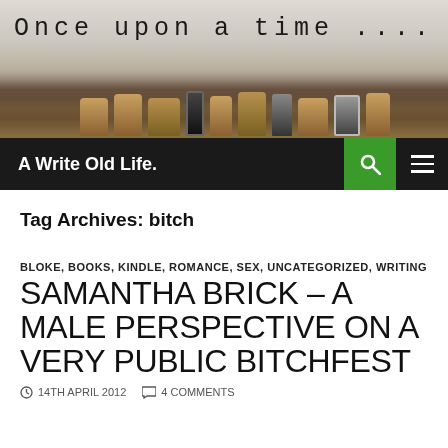[Figure (photo): Typewriter photo header with text 'Once upon a time ....' on a typewriter paper, showing typewriter keys in the lower portion]
A Write Old Life.
Tag Archives: bitch
BLOKE, BOOKS, KINDLE, ROMANCE, SEX, UNCATEGORIZED, WRITING
SAMANTHA BRICK – A MALE PERSPECTIVE ON A VERY PUBLIC BITCHFEST
14TH APRIL 2012  4 COMMENTS